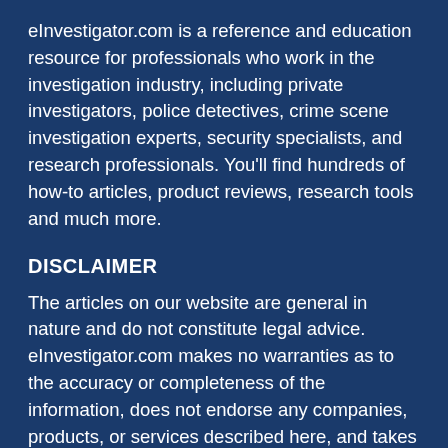eInvestigator.com is a reference and education resource for professionals who work in the investigation industry, including private investigators, police detectives, crime scene investigation experts, security specialists, and research professionals. You'll find hundreds of how-to articles, product reviews, research tools and much more.
DISCLAIMER
The articles on our website are general in nature and do not constitute legal advice. eInvestigator.com makes no warranties as to the accuracy or completeness of the information, does not endorse any companies, products, or services described here, and takes no liability for your use of this information. Also, we are an information provider only and do not physically distribute the products on our website.